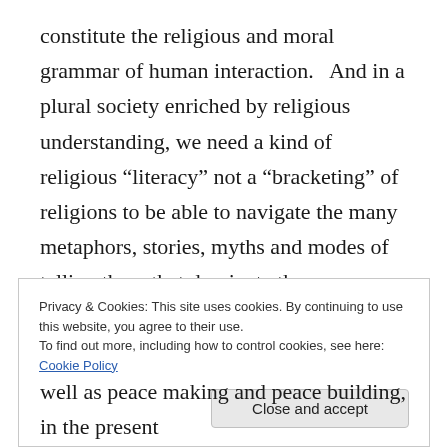constitute the religious and moral grammar of human interaction.   And in a plural society enriched by religious understanding, we need a kind of religious “literacy” not a “bracketing” of religions to be able to navigate the many metaphors, stories, myths and modes of telling them that dominate the relationships between our differing religious “families”.
Privacy & Cookies: This site uses cookies. By continuing to use this website, you agree to their use.
To find out more, including how to control cookies, see here: Cookie Policy

Close and accept
well as peace making and peace building, in the present